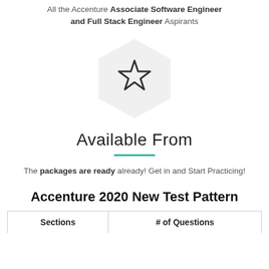All the Accenture Associate Software Engineer and Full Stack Engineer Aspirants
[Figure (illustration): Hexagon shape with a star icon inside on light grey background]
Available From
The packages are ready already! Get in and Start Practicing!
Accenture 2020 New Test Pattern
| Sections | # of Questions |
| --- | --- |